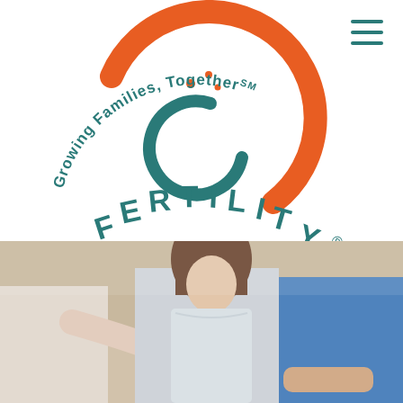[Figure (logo): OC Fertility logo with orange circular OC symbol and teal FERTILITY text, with curved text 'Growing Families, Together' around the top]
[Figure (photo): A medical consultation scene showing a doctor gesturing with hands to a couple (woman in white top and man in blue shirt) seated on a couch]